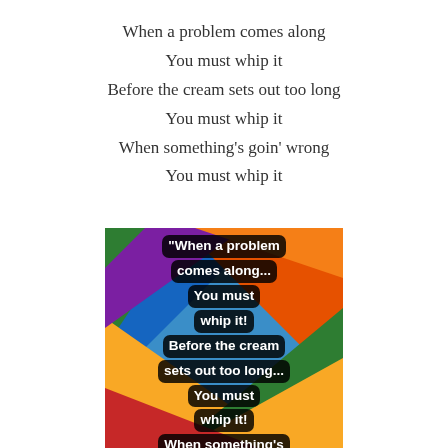When a problem comes along
You must whip it
Before the cream sets out too long
You must whip it
When something's goin' wrong
You must whip it
[Figure (illustration): A colorful rainbow geometric background image with white bold text overlaid reading: "When a problem comes along... You must whip it! Before the cream sets out too long... You must whip it! When something's goin' wrong..." The text has black rounded-rectangle backgrounds.]